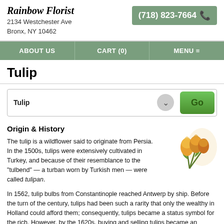Rainbow Florist
2134 Westchester Ave
Bronx, NY 10462
(718) 823-7664
ABOUT US | CART (0) | MENU
Tulip
Tulip
Origin & History
[Figure (illustration): Bouquet of orange/yellow tulips]
The tulip is a wildflower said to originate from Persia. In the 1500s, tulips were extensively cultivated in Turkey, and because of their resemblance to the "tulbend" — a turban worn by Turkish men — were called tulipan.
In 1562, tulip bulbs from Constantinople reached Antwerp by ship. Before the turn of the century, tulips had been such a rarity that only the wealthy in Holland could afford them; consequently, tulips became a status symbol for the rich. However, by the 1620s, buying and selling tulips became an activity for merchants, and "tulip madness" ensued. Tulip trading crashed in 1637, throwing Holland into financial ruin. After the Dutch government enforced strict laws for cultivating and selling bulbs, the tulip became the national